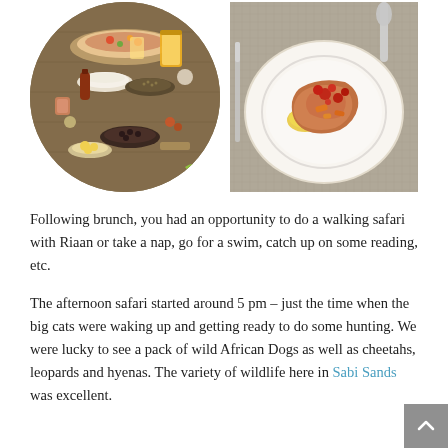[Figure (photo): Circular photo of a brunch spread with multiple bowls and dishes on a wooden table including fruits, cereals, and beverages]
[Figure (photo): Rectangular photo of a plated dish on a white plate with meat and sauce on a placemat, with cutlery visible]
Following brunch, you had an opportunity to do a walking safari with Riaan or take a nap, go for a swim, catch up on some reading, etc.
The afternoon safari started around 5 pm – just the time when the big cats were waking up and getting ready to do some hunting. We were lucky to see a pack of wild African Dogs as well as cheetahs, leopards and hyenas. The variety of wildlife here in Sabi Sands was excellent.